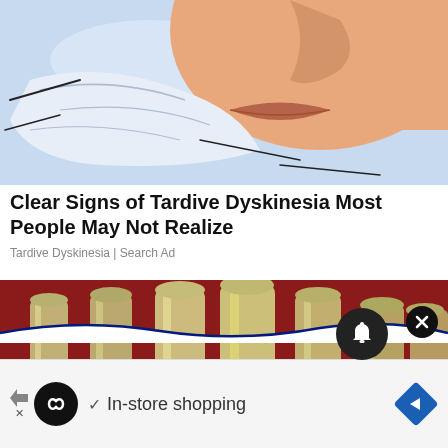[Figure (illustration): Cartoon/illustration of a person blowing their nose into a tissue, with blue sky background. Close-up view of face showing lips and tissue.]
Clear Signs of Tardive Dyskinesia Most People May Not Realize
Tardive Dyskinesia | Search Ad
[Figure (photo): Photo of multiple rolls of US dollar bills standing upright on a red background.]
[Figure (screenshot): Ad bar at bottom showing infinity-loop icon, checkmark, 'In-store shopping' text, and a blue diamond navigation icon. Also shows notification bell button and close (X) button overlaid.]